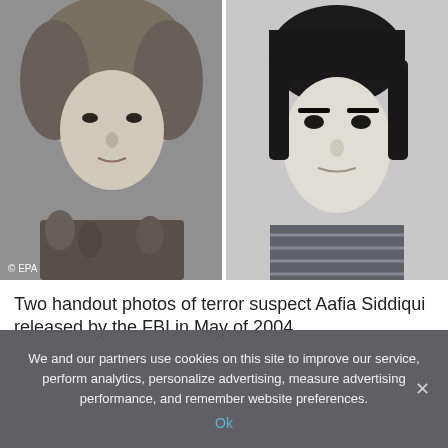[Figure (photo): Two black-and-white handout photos side by side. Left photo shows a woman wearing a patterned hijab. Right photo shows a woman with short dark hair. © EPA watermark on left photo.]
Two handout photos of terror suspect Aafia Siddiqui released by the FBI in May of 2004
We and our partners use cookies on this site to improve our service, perform analytics, personalize advertising, measure advertising performance, and remember website preferences.
Ok